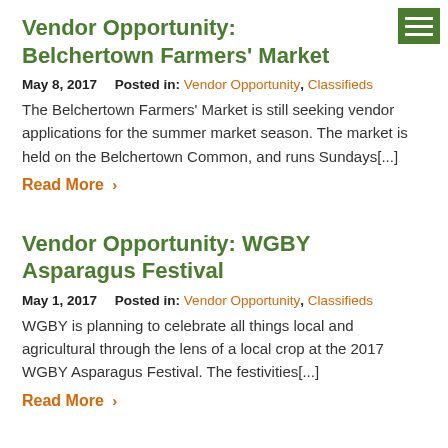Vendor Opportunity: Belchertown Farmers' Market
May 8, 2017    Posted in: Vendor Opportunity, Classifieds
The Belchertown Farmers' Market is still seeking vendor applications for the summer market season. The market is held on the Belchertown Common, and runs Sundays[...]
Read More ›
Vendor Opportunity: WGBY Asparagus Festival
May 1, 2017    Posted in: Vendor Opportunity, Classifieds
WGBY is planning to celebrate all things local and agricultural through the lens of a local crop at the 2017 WGBY Asparagus Festival. The festivities[...]
Read More ›